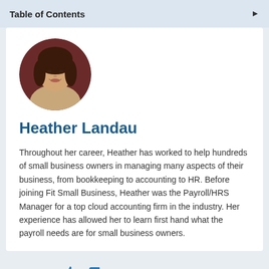Table of Contents
[Figure (photo): Circular profile photo of Heather Landau, a young woman with dark hair, smiling, against a dark red background.]
Heather Landau
Throughout her career, Heather has worked to help hundreds of small business owners in managing many aspects of their business, from bookkeeping to accounting to HR. Before joining Fit Small Business, Heather was the Payroll/HRS Manager for a top cloud accounting firm in the industry. Her experience has allowed her to learn first hand what the payroll needs are for small business owners.
FEEDBACK